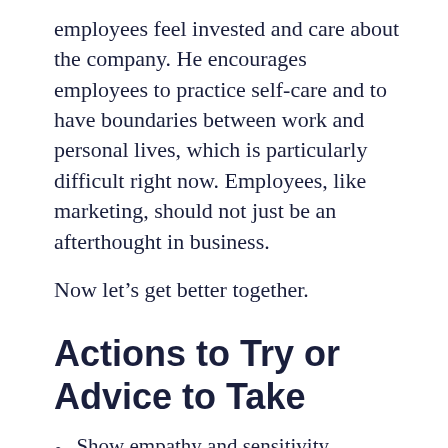employees feel invested and care about the company. He encourages employees to practice self-care and to have boundaries between work and personal lives, which is particularly difficult right now. Employees, like marketing, should not just be an afterthought in business.
Now let’s get better together.
Actions to Try or Advice to Take
Show empathy and sensitivity. Acknowledge what people are going through, but don’t just follow the crowd, be above average.